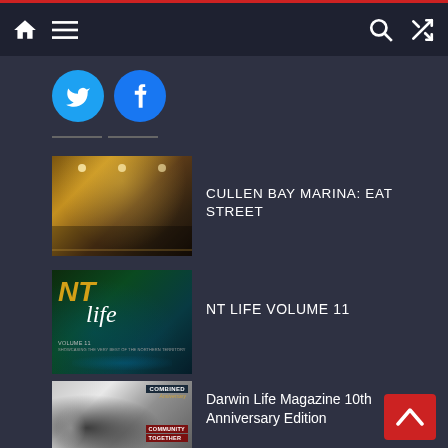Navigation bar with home, menu, search, and shuffle icons
[Figure (illustration): Twitter and Facebook social share buttons (cyan/blue circles with icons)]
[Figure (photo): Thumbnail photo of Cullen Bay Marina Eat Street interior restaurant]
CULLEN BAY MARINA: EAT STREET
[Figure (illustration): NT Life Volume 11 magazine cover thumbnail]
NT LIFE VOLUME 11
[Figure (photo): Darwin Life Magazine 10th Anniversary Edition cover thumbnail]
Darwin Life Magazine 10th Anniversary Edition